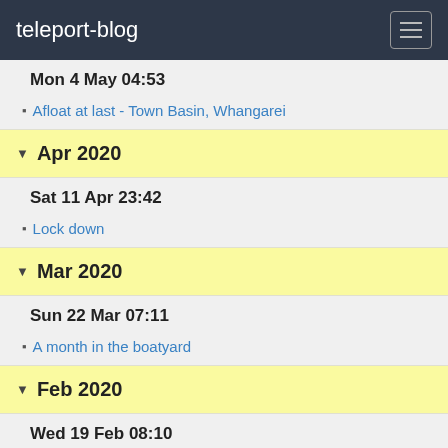teleport-blog
Mon 4 May 04:53
Afloat at last - Town Basin, Whangarei
Apr 2020
Sat 11 Apr 23:42
Lock down
Mar 2020
Sun 22 Mar 07:11
A month in the boatyard
Feb 2020
Wed 19 Feb 08:10
Refit time - Norsand Boatyard - 35:44.3S, 174:20.8E
Sat 1 Feb 23:47
Coromandel and Northwards 36:25.5S, 174:50.3E
Jan 2020